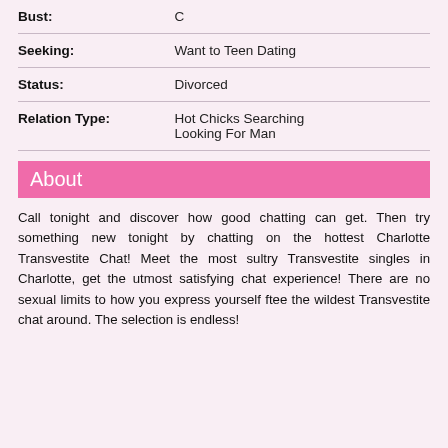| Field | Value |
| --- | --- |
| Bust: | C |
| Seeking: | Want to Teen Dating |
| Status: | Divorced |
| Relation Type: | Hot Chicks Searching Looking For Man |
About
Call tonight and discover how good chatting can get. Then try something new tonight by chatting on the hottest Charlotte Transvestite Chat! Meet the most sultry Transvestite singles in Charlotte, get the utmost satisfying chat experience! There are no sexual limits to how you express yourself ftee the wildest Transvestite chat around. The selection is endless!